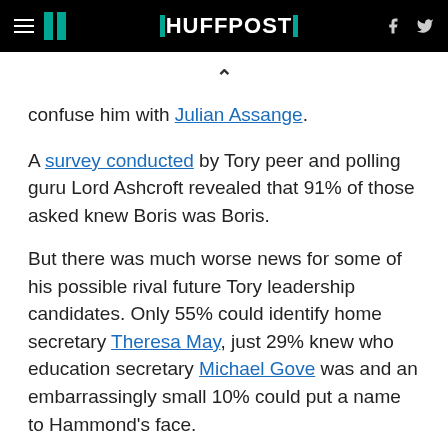HUFFPOST
confuse him with Julian Assange.
A survey conducted by Tory peer and polling guru Lord Ashcroft revealed that 91% of those asked knew Boris was Boris.
But there was much worse news for some of his possible rival future Tory leadership candidates. Only 55% could identify home secretary Theresa May, just 29% knew who education secretary Michael Gove was and an embarrassingly small 10% could put a name to Hammond's face.